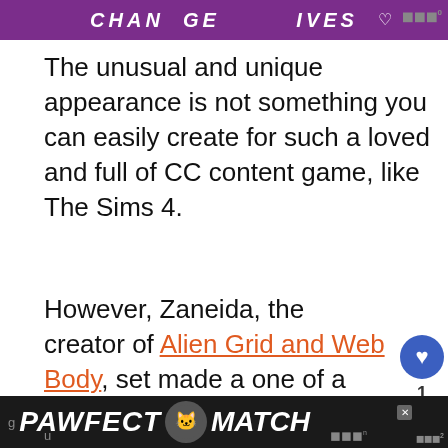[Figure (screenshot): Purple banner advertisement with cat images and text, partially visible at top]
The unusual and unique appearance is not something you can easily create for such a loved and full of CC content game, like The Sims 4.
However, Zaneida, the creator of Alien Grid and Web Body, set made a one of a kind thing.
This transparent outfit perfectly m post-apocalyptic space civilization ge u in
[Figure (screenshot): What's Next widget showing Top 25 Best Sims 4 Anim... with thumbnail]
[Figure (screenshot): PAWFECT MATCH bottom advertisement banner with cat image]